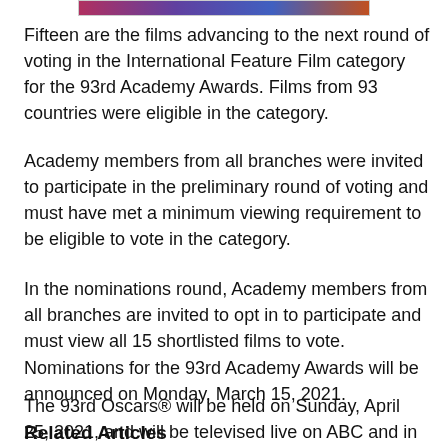[Figure (photo): Partial image strip at top of page, appears to be a colorful/artistic image cropped at the top edge]
Fifteen are the films advancing to the next round of voting in the International Feature Film category for the 93rd Academy Awards. Films from 93 countries were eligible in the category.
Academy members from all branches were invited to participate in the preliminary round of voting and must have met a minimum viewing requirement to be eligible to vote in the category.
In the nominations round, Academy members from all branches are invited to opt in to participate and must view all 15 shortlisted films to vote.
Nominations for the 93rd Academy Awards will be announced on Monday, March 15, 2021.
The 93rd Oscars® will be held on Sunday, April 25, 2021, and will be televised live on ABC and in more than 225 countries and territories worldwide.
Related Articles